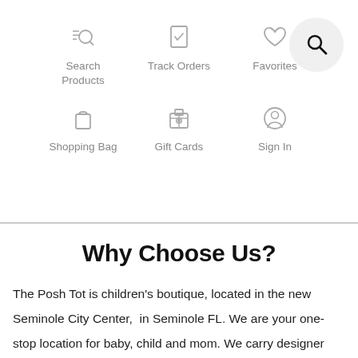[Figure (infographic): Navigation icons grid: Search Products (search icon), Track Orders (checklist icon), Favorites (heart icon), Shopping Bag (bag icon), Gift Cards (gift box icon), Sign In (person icon). A circular search button overlay appears top right.]
Why Choose Us?
The Posh Tot is children's boutique, located in the new Seminole City Center,  in Seminole FL. We are your one-stop location for baby, child and mom. We carry designer clothing and accessories, in sizes Preemie through 8, plus shoes, toys, strollers, high chairs, and so much more. Our boutique features